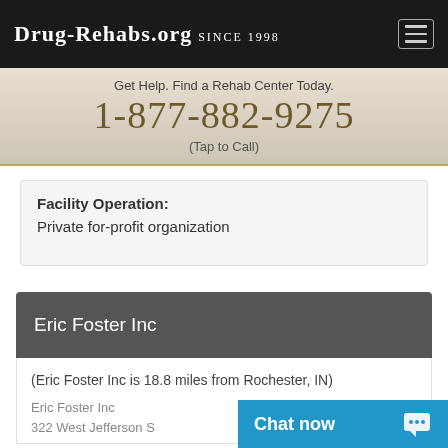Drug-Rehabs.org Since 1998
Get Help. Find a Rehab Center Today.
1-877-882-9275
(Tap to Call)
Facility Operation:
Private for-profit organization
Eric Foster Inc
(Eric Foster Inc is 18.8 miles from Rochester, IN)
Eric Foster Inc
322 West Jefferson S